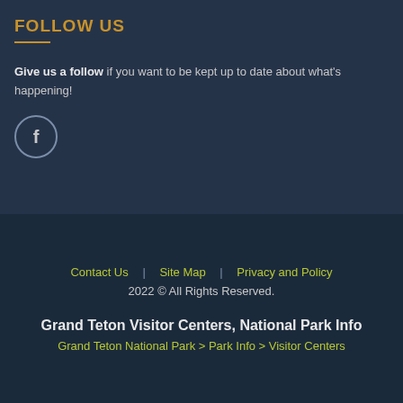FOLLOW US
Give us a follow if you want to be kept up to date about what's happening!
[Figure (illustration): Facebook circle icon button with letter f]
Contact Us  |  Site Map  |  Privacy and Policy
2022 © All Rights Reserved.
Grand Teton Visitor Centers, National Park Info
Grand Teton National Park > Park Info > Visitor Centers